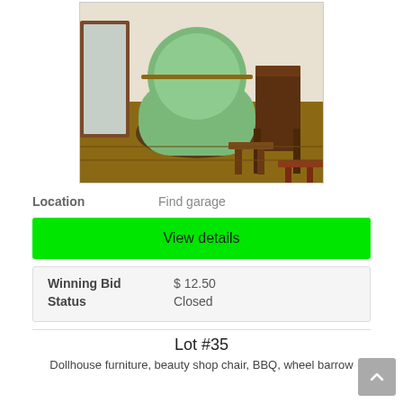[Figure (photo): Photo of antique furniture including a green upholstered armchair, wooden chairs, and small side tables on a wood floor]
Location   Find garage
View details
| Winning Bid | $ 12.50 |
| Status | Closed |
Lot #35
Dollhouse furniture, beauty shop chair, BBQ, wheel barrow